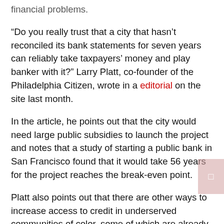financial problems.
“Do you really trust that a city that hasn’t reconciled its bank statements for seven years can reliably take taxpayers’ money and play banker with it?” Larry Platt, co-founder of the Philadelphia Citizen, wrote in a editorial on the site last month.
In the article, he points out that the city would need large public subsidies to launch the project and notes that a study of starting a public bank in San Francisco found that it would take 56 years for the project reaches the break-even point.
Platt also points out that there are other ways to increase access to credit in underserved communities of color, some of which are already being implemented in Philadelphia.
Several organizations focused on improving the flow of capital in communities like the ones Green focuses on have been created in recent years.
This includes the Philadelphia Growth, Resiliency…